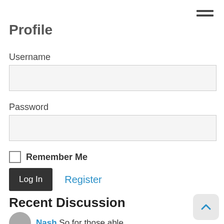☰ (hamburger menu)
Profile
Username
Password
Remember Me
Log In   Register
Recent Discussion
Nash So for those able...